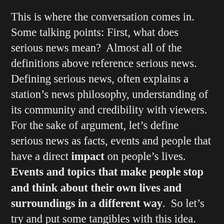This is where the conversation comes in. Some talking points: First, what does serious news mean? Almost all of the definitions above reference serious news. Defining serious news, often explains a station's news philosophy, understanding of its community and credibility with viewers. For the sake of argument, let's define serious news as facts, events and people that have a direct impact on people's lives. Events and topics that make people stop and think about their own lives and surroundings in a different way. So let's try and put some tangibles with this idea. Let's delve into a serious topic that often is covered horribly, if at all on TV: Education. This is a huge topic for